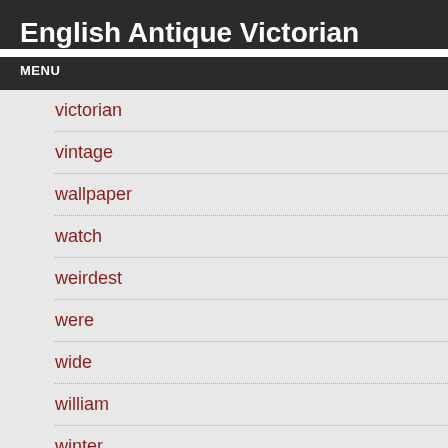English Antique Victorian
MENU
victorian
vintage
wallpaper
watch
weirdest
were
wide
william
winter
woman
wonderful
wood's
working
works